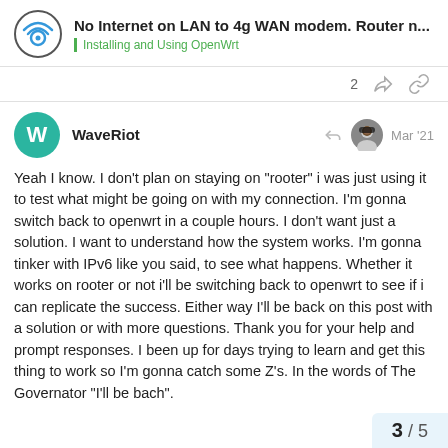No Internet on LAN to 4g WAN modem. Router n... | Installing and Using OpenWrt
2
WaveRiot Mar '21
Yeah I know. I don't plan on staying on "rooter" i was just using it to test what might be going on with my connection. I'm gonna switch back to openwrt in a couple hours. I don't want just a solution. I want to understand how the system works. I'm gonna tinker with IPv6 like you said, to see what happens. Whether it works on rooter or not i'll be switching back to openwrt to see if i can replicate the success. Either way I'll be back on this post with a solution or with more questions. Thank you for your help and prompt responses. I been up for days trying to learn and get this thing to work so I'm gonna catch some Z's. In the words of The Governator "I'll be bach".
3 / 5